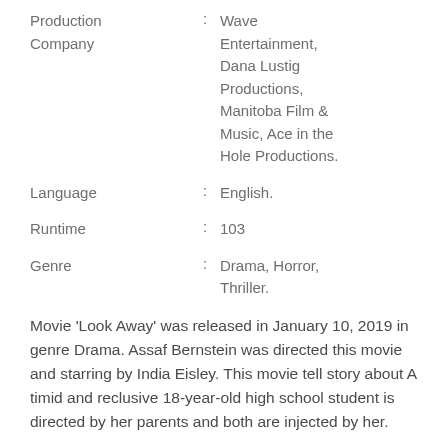| Production Company | : | Wave Entertainment, Dana Lustig Productions, Manitoba Film & Music, Ace in the Hole Productions. |
| Language | : | English. |
| Runtime | : | 103 |
| Genre | : | Drama, Horror, Thriller. |
Movie ‘Look Away’ was released in January 10, 2019 in genre Drama. Assaf Bernstein was directed this movie and starring by India Eisley. This movie tell story about A timid and reclusive 18-year-old high school student is directed by her parents and both are injected by her.